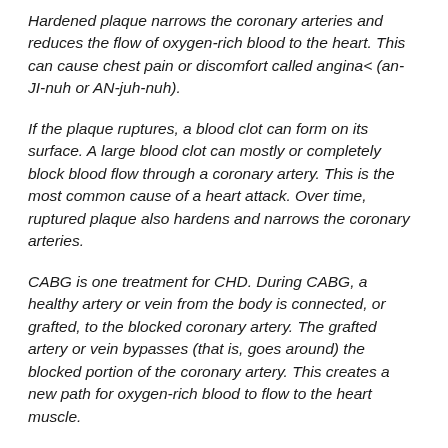Hardened plaque narrows the coronary arteries and reduces the flow of oxygen-rich blood to the heart. This can cause chest pain or discomfort called angina< (an-JI-nuh or AN-juh-nuh).
If the plaque ruptures, a blood clot can form on its surface. A large blood clot can mostly or completely block blood flow through a coronary artery. This is the most common cause of a heart attack. Over time, ruptured plaque also hardens and narrows the coronary arteries.
CABG is one treatment for CHD. During CABG, a healthy artery or vein from the body is connected, or grafted, to the blocked coronary artery. The grafted artery or vein bypasses (that is, goes around) the blocked portion of the coronary artery. This creates a new path for oxygen-rich blood to flow to the heart muscle.